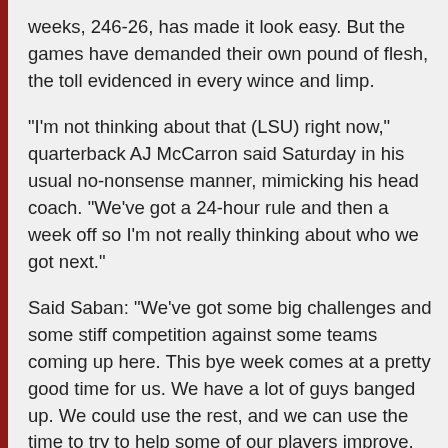weeks, 246-26, has made it look easy. But the games have demanded their own pound of flesh, the toll evidenced in every wince and limp.
"I'm not thinking about that (LSU) right now," quarterback AJ McCarron said Saturday in his usual no-nonsense manner, mimicking his head coach. "We've got a 24-hour rule and then a week off so I'm not really thinking about who we got next."
Said Saban: "We've got some big challenges and some stiff competition against some teams coming up here. This bye week comes at a pretty good time for us. We have a lot of guys banged up. We could use the rest, and we can use the time to try to help some of our players improve. So that's going to be our focus this week."